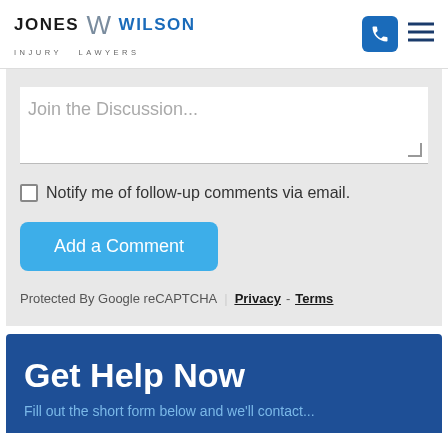Jones Wilson Injury Lawyers
Join the Discussion...
Notify me of follow-up comments via email.
Add a Comment
Protected By Google reCAPTCHA Privacy - Terms
Get Help Now
Fill out the short form below and we'll contact...